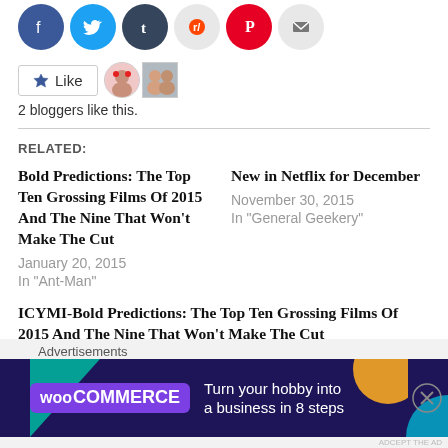[Figure (other): Row of social sharing icon circles: Facebook (blue), Twitter (light blue), Tumblr (dark navy), Reddit (light grey), Pinterest (red), Email (light grey)]
[Figure (other): WordPress Like button with star icon and two blogger avatar thumbnails]
2 bloggers like this.
RELATED:
Bold Predictions: The Top Ten Grossing Films Of 2015 And The Nine That Won't Make The Cut
January 20, 2015
In "Ant-Man"
New in Netflix for December
November 30, 2015
In "General Geekery"
ICYMI-Bold Predictions: The Top Ten Grossing Films Of 2015 And The Nine That Won't Make The Cut
May 25, 2015
[Figure (other): WooCommerce advertisement banner: dark purple background with teal and orange shapes, WooCommerce logo and text 'Turn your hobby into a business in 8 steps']